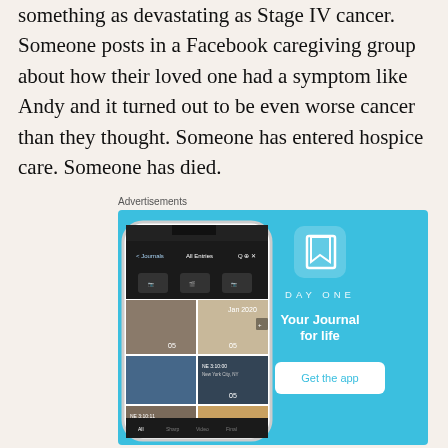something as devastating as Stage IV cancer. Someone posts in a Facebook caregiving group about how their loved one had a symptom like Andy and it turned out to be even worse cancer than they thought. Someone has entered hospice care. Someone has died.
Advertisements
[Figure (screenshot): Advertisement for DayOne journaling app. Blue background with a phone mockup showing the app interface on the left, and on the right a DayOne logo icon, the wordmark 'DAY ONE', tagline 'Your Journal for life', and a 'Get the app' button.]